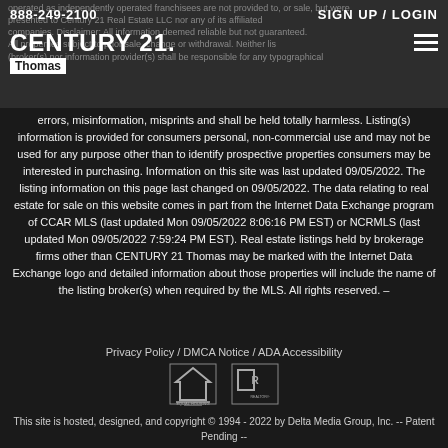888-249-2100 | SIGN UP / LOGIN
[Figure (logo): CENTURY 21 Thomas logo]
operated as independently operated franchisees are not provided to, or sale, but were presented to Century 21 Real Estate LLC nor any of its affiliated companies. Disclaimer: All information deemed reliable but not guaranteed. All properties subject to prior sale, change or withdrawal. Neither listing broker(s) nor information provider(s) shall be responsible for any typographical errors, misinformation, misprints and shall be held totally harmless. Listing(s) information is provided for consumers personal, non-commercial use and may not be used for any purpose other than to identify prospective properties consumers may be interested in purchasing. Information on this site was last updated 09/05/2022. The listing information on this page last changed on 09/05/2022. The data relating to real estate for sale on this website comes in part from the Internet Data Exchange program of CCAR MLS (last updated Mon 09/05/2022 8:06:16 PM EST) or NCRMLS (last updated Mon 09/05/2022 7:59:24 PM EST). Real estate listings held by brokerage firms other than CENTURY 21 Thomas may be marked with the Internet Data Exchange logo and detailed information about those properties will include the name of the listing broker(s) when required by the MLS. All rights reserved. –
Privacy Policy / DMCA Notice / ADA Accessibility
[Figure (logo): Equal Housing Opportunity and Realtor logos]
This site is hosted, designed, and copyright © 1994 - 2022 by Delta Media Group, Inc. -- Patent Pending --